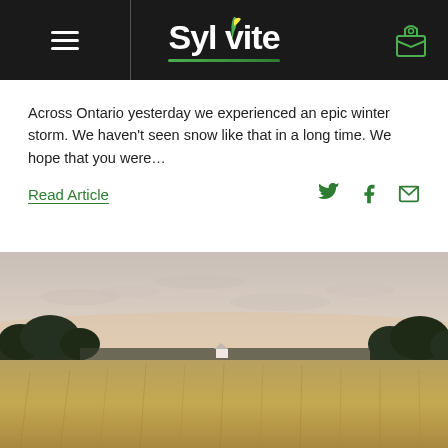Sylvite
Across Ontario yesterday we experienced an epic winter storm. We haven't seen snow like that in a long time. We hope that you were…
Read Article
[Figure (photo): A wide open agricultural field with golden wheat or grain in the foreground and a row of trees along the horizon under a pale sky at dusk or dawn.]